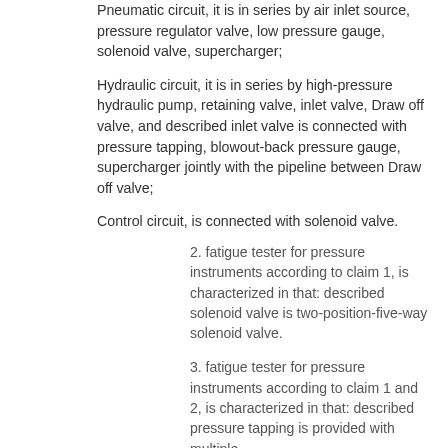Pneumatic circuit, it is in series by air inlet source, pressure regulator valve, low pressure gauge, solenoid valve, supercharger;
Hydraulic circuit, it is in series by high-pressure hydraulic pump, retaining valve, inlet valve, Draw off valve, and described inlet valve is connected with pressure tapping, blowout-back pressure gauge, supercharger jointly with the pipeline between Draw off valve;
Control circuit, is connected with solenoid valve.
2. fatigue tester for pressure instruments according to claim 1, is characterized in that: described solenoid valve is two-position-five-way solenoid valve.
3. fatigue tester for pressure instruments according to claim 1 and 2, is characterized in that: described pressure tapping is provided with multiple.
4. fatigue tester for pressure instruments according to claim 1, is characterized in that: described control circuit comprises multiple on-off element, relay element, time relay element, is also connected with alarm lamp in described control circuit.